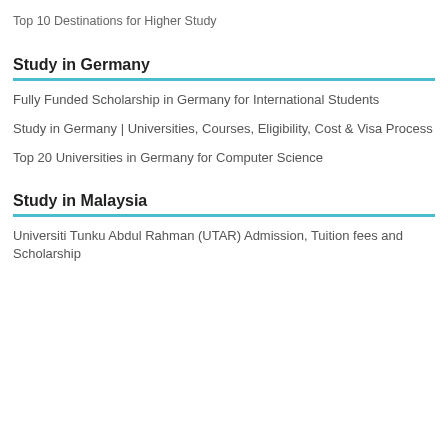Top 10 Destinations for Higher Study
Study in Germany
Fully Funded Scholarship in Germany for International Students
Study in Germany | Universities, Courses, Eligibility, Cost & Visa Process
Top 20 Universities in Germany for Computer Science
Study in Malaysia
Universiti Tunku Abdul Rahman (UTAR) Admission, Tuition fees and Scholarship